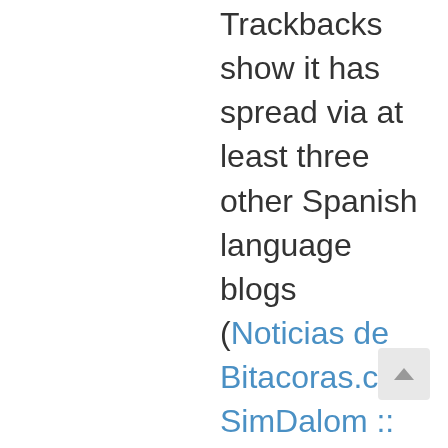Trackbacks show it has spread via at least three other Spanish language blogs (Noticias de Bitacoras.com, SimDalom :: WyP, Arkangel YABlog). It's pretty exciting to see one's idea spread and gather support on a global scale (I derive a special pleasure from seeing myself written about in foreign languages, and in this case I can actually read it), but the sad part is Adopt a Blog still isn't going anywhere. I have not found the sponsor I was looking for…